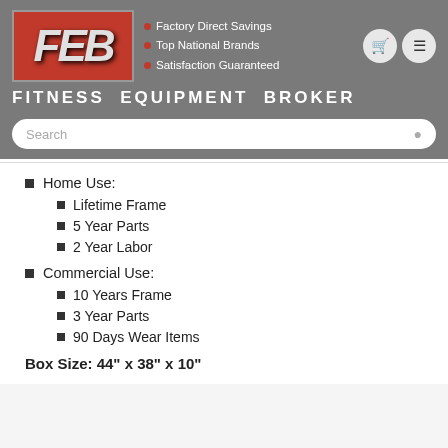FITNESS EQUIPMENT BROKER — Factory Direct Savings · Top National Brands · Satisfaction Guaranteed
Home Use:
Lifetime Frame
5 Year Parts
2 Year Labor
Commercial Use:
10 Years Frame
3 Year Parts
90 Days Wear Items
Box Size: 44" x 38" x 10"